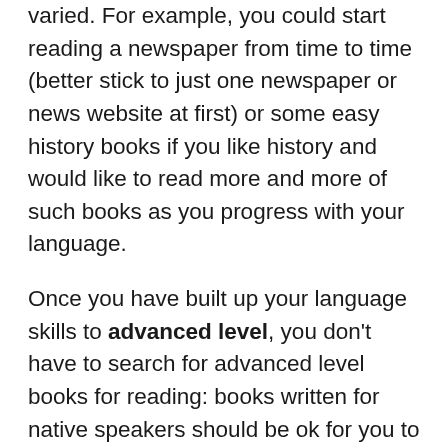varied. For example, you could start reading a newspaper from time to time (better stick to just one newspaper or news website at first) or some easy history books if you like history and would like to read more and more of such books as you progress with your language.
Once you have built up your language skills to advanced level, you don't have to search for advanced level books for reading: books written for native speakers should be ok for you to read. Though, of course, it depends on a particular book: even if you are an advanced